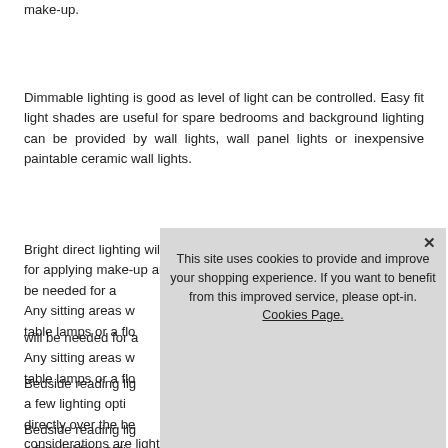make-up.
Dimmable lighting is good as level of light can be controlled. Easy fit light shades are useful for spare bedrooms and background lighting can be provided by wall lights, wall panel lights or inexpensive paintable ceramic wall lights.
Bright direct lighting will be needed over dressing tables to give light for applying make-up and good task lighting such as desk lamps will be needed for a... Any sitting areas w... table lamps or a flo...
Bedside reading lig... a few lighting opti... directly over the be... Bedside lights sho... lighting that has a... slimline led flexible... that have an le... considerations are lights for built in wardrobes or lighting for
[Figure (screenshot): Cookie consent modal dialog with text: 'This site uses cookies to provide and improve your shopping experience. If you want to benefit from this improved service, please opt-in. Cookies Page.' A link 'I opt-in to a better browsing experience' and an 'Accept Cookies' button, with an X close button.]